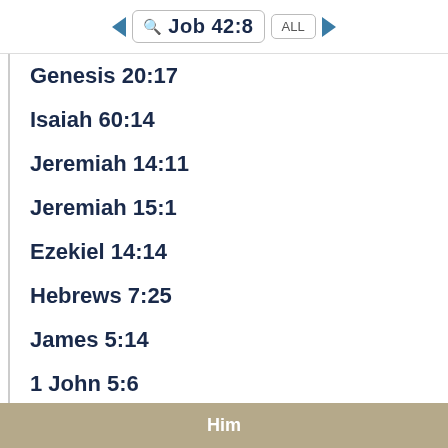Job 42:8
Genesis 20:17
Isaiah 60:14
Jeremiah 14:11
Jeremiah 15:1
Ezekiel 14:14
Hebrews 7:25
James 5:14
1 John 5:6
Revelation 3:9
Him